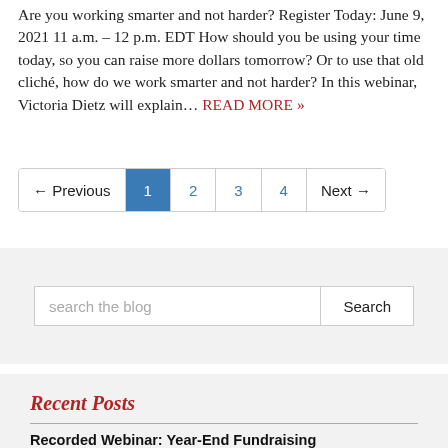Are you working smarter and not harder? Register Today: June 9, 2021 11 a.m. – 12 p.m. EDT How should you be using your time today, so you can raise more dollars tomorrow? Or to use that old cliché, how do we work smarter and not harder? In this webinar, Victoria Dietz will explain… READ MORE »
← Previous | 1 | 2 | 3 | 4 | Next →
search the blog
Recent Posts
Recorded Webinar: Year-End Fundraising